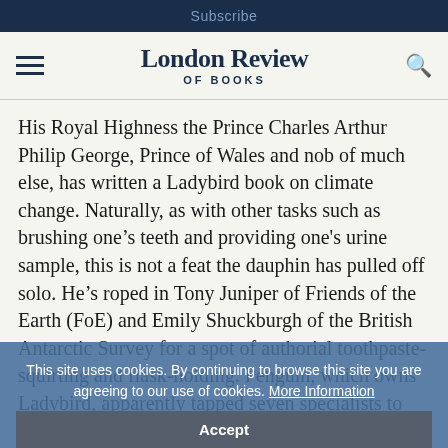Subscribe
London Review OF BOOKS
His Royal Highness the Prince Charles Arthur Philip George, Prince of Wales and nob of much else, has written a Ladybird book on climate change. Naturally, as with other tasks such as brushing one’s teeth and providing one's urine sample, this is not a feat the dauphin has pulled off solo. He’s roped in Tony Juniper of Friends of the Earth (FoE) and Emily Shuckburgh of the British Antarctic Survey for a spot of authorial toothpaste-squirting and flask-holding. Penguin, which owns Ladybird, apparently tapped seven specialists to wrestle with the 5000-word spider-written MS in order, as Roland White of Penguin put it, to 'amend some of the more assertive language to ensure it was
This site uses cookies. By continuing to browse this site you are agreeing to our use of cookies. More Information
Accept